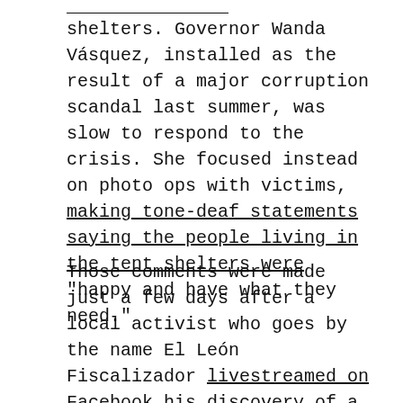shelters. Governor Wanda Vásquez, installed as the result of a major corruption scandal last summer, was slow to respond to the crisis. She focused instead on photo ops with victims, making tone-deaf statements saying the people living in the tent shelters were “happy and have what they need.”
Those comments were made just a few days after a local activist who goes by the name El León Fiscalizador livestreamed on Facebook his discovery of a 43,000 square-foot government warehouse in the south of Puerto Rico containing piles of unused disaster aid that had been sitting there since 2017’s